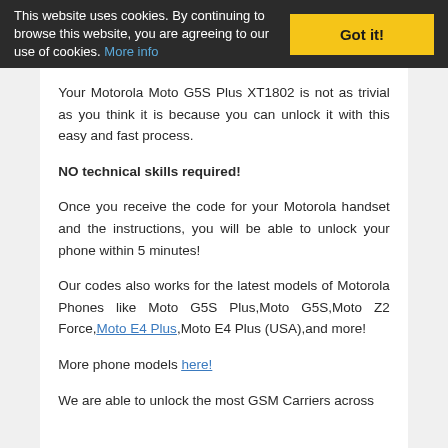This website uses cookies. By continuing to browse this website, you are agreeing to our use of cookies. More info | Got it!
Your Motorola Moto G5S Plus XT1802 is not as trivial as you think it is because you can unlock it with this easy and fast process.
NO technical skills required!
Once you receive the code for your Motorola handset and the instructions, you will be able to unlock your phone within 5 minutes!
Our codes also works for the latest models of Motorola Phones like Moto G5S Plus,Moto G5S,Moto Z2 Force,Moto E4 Plus,Moto E4 Plus (USA),and more!
More phone models here!
We are able to unlock the most GSM Carriers across